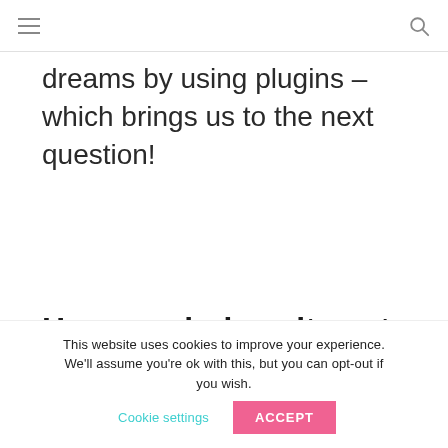[hamburger menu] [search icon]
dreams by using plugins – which brings us to the next question!
How much does it cost to run a blog?
This website uses cookies to improve your experience. We'll assume you're ok with this, but you can opt-out if you wish. Cookie settings ACCEPT